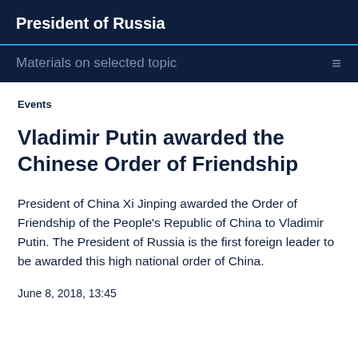President of Russia
Materials on selected topic
Events
Vladimir Putin awarded the Chinese Order of Friendship
President of China Xi Jinping awarded the Order of Friendship of the People’s Republic of China to Vladimir Putin. The President of Russia is the first foreign leader to be awarded this high national order of China.
June 8, 2018, 13:45